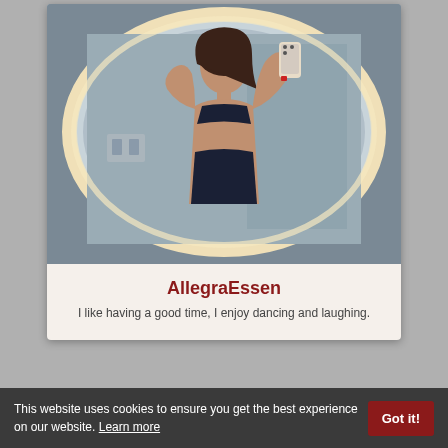[Figure (photo): Mirror selfie of a woman in dark lingerie taking a photo in a bathroom with a round backlit mirror]
AllegraEssen
I like having a good time, I enjoy dancing and laughing.
This website uses cookies to ensure you get the best experience on our website. Learn more